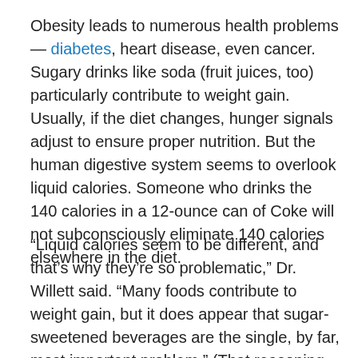Obesity leads to numerous health problems — diabetes, heart disease, even cancer. Sugary drinks like soda (fruit juices, too) particularly contribute to weight gain. Usually, if the diet changes, hunger signals adjust to ensure proper nutrition. But the human digestive system seems to overlook liquid calories. Someone who drinks the 140 calories in a 12-ounce can of Coke will not subconsciously eliminate 140 calories elsewhere in the diet.
“Liquid calories seem to be different, and that’s why they’re so problematic,” Dr. Willett said. “Many foods contribute to weight gain, but it does appear that sugar-sweetened beverages are the single, by far, most important problem.” (That reasoning led to Mayor Michael R. Bloomberg’s proposal to ban the sale of large sugary sodas in New York City while allowing mega-size diet sodas.)